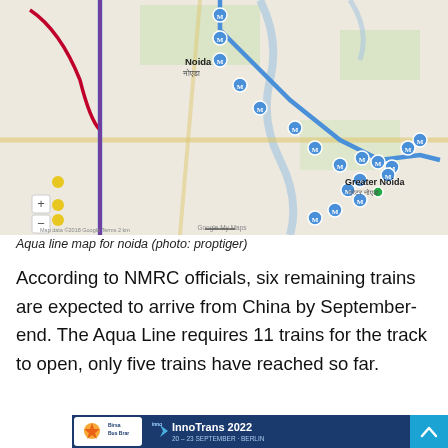[Figure (map): Aqua line metro map for Noida and Greater Noida showing metro stations marked with M icons along the route, on a Google Maps background. The route extends from upper left through Noida toward Greater Noida in the lower right. Various station names visible including Noida, Sector stations, Greater Noida, Delta, Alpha, Cinema, Knowledge Park, Sector 149, Gautam Buddha University.]
Aqua line map for noida (photo: proptiger)
According to NMRC officials, six remaining trains are expected to arrive from China by September-end. The Aqua Line requires 11 trains for the track to open, only five trains have reached so far.
[Figure (infographic): Bottom banner showing Birsa Bus Brar logo on left and InnoTrans 2022, 20-23 September, Berlin event logo/branding on right with blue background.]